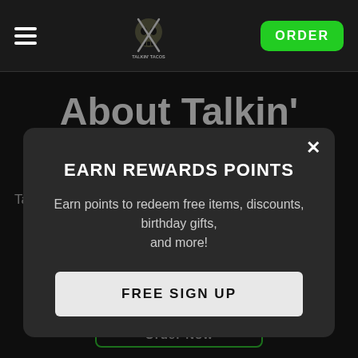Navigation bar with hamburger menu, Talkin' Tacos logo, and ORDER button
About Talkin' Tacos™
Talkin' Tacos™ started as a food truck in the Miami
EARN REWARDS POINTS
Earn points to redeem free items, discounts, birthday gifts, and more!
FREE SIGN UP
Order Now